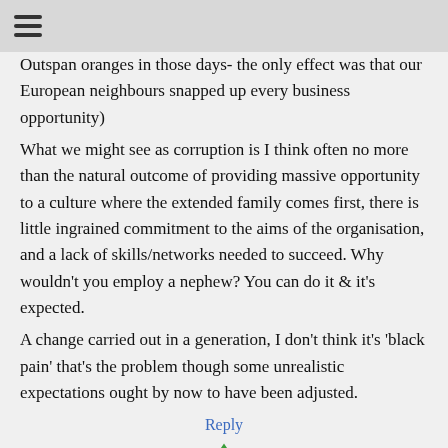☰
Outspan oranges in those days- the only effect was that our European neighbours snapped up every business opportunity)
What we might see as corruption is I think often no more than the natural outcome of providing massive opportunity to a culture where the extended family comes first, there is little ingrained commitment to the aims of the organisation, and a lack of skills/networks needed to succeed. Why wouldn't you employ a nephew? You can do it & it's expected.
A change carried out in a generation, I don't think it's 'black pain' that's the problem though some unrealistic expectations ought by now to have been adjusted.
Reply
[Figure (illustration): Green recycling/refresh icon at the bottom of the page]